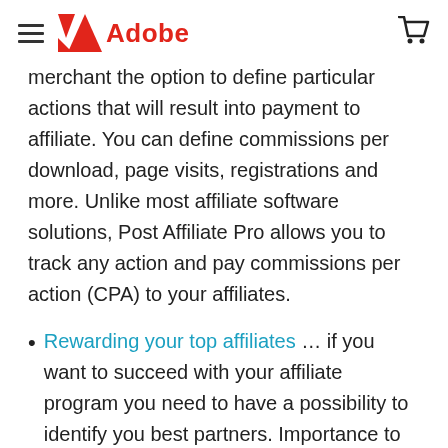Adobe (hamburger menu + cart icon)
merchant the option to define particular actions that will result into payment to affiliate. You can define commissions per download, page visits, registrations and more. Unlike most affiliate software solutions, Post Affiliate Pro allows you to track any action and pay commissions per action (CPA) to your affiliates.
Rewarding your top affiliates … if you want to succeed with your affiliate program you need to have a possibility to identify you best partners. Importance to keep your Top Affiliates eager to sell more your products is sky high. Here is an example: Did you know that 90% of total revenue in affiliate programs comes from the top